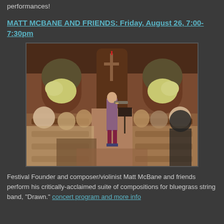performances!
MATT MCBANE AND FRIENDS: Friday, August 26, 7:00-7:30pm
[Figure (photo): A violinist performing in a church interior with wooden pews, audience members seated in pews facing forward, a cross visible at the altar in the background, and flower arrangements on either side.]
Festival Founder and composer/violinist Matt McBane and friends perform his critically-acclaimed suite of compositions for bluegrass string band, "Drawn." concert program and more info